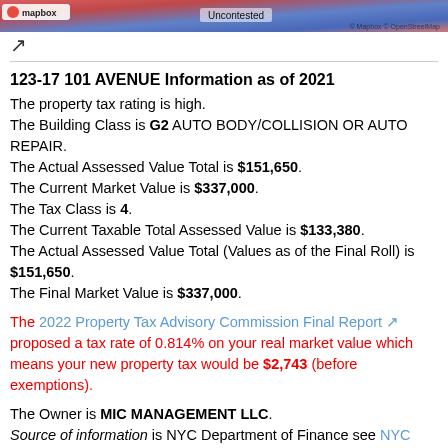[Figure (map): Mapbox map strip showing property location with red/blue coloring, 'Uncontested' label, Mapbox and OpenStreetMap credits]
123-17 101 AVENUE Information as of 2021
The property tax rating is high.
The Building Class is G2 AUTO BODY/COLLISION OR AUTO REPAIR.
The Actual Assessed Value Total is $151,650.
The Current Market Value is $337,000.
The Tax Class is 4.
The Current Taxable Total Assessed Value is $133,380.
The Actual Assessed Value Total (Values as of the Final Roll) is $151,650.
The Final Market Value is $337,000.
The 2022 Property Tax Advisory Commission Final Report proposed a tax rate of 0.814% on your real market value which means your new property tax would be $2,743 (before exemptions).
The Owner is MIC MANAGEMENT LLC. Source of information is NYC Department of Finance see NYC Finance Document Source